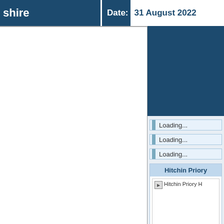shire   Date: 31 August 2022
[Figure (screenshot): Left panel: white content area with border, appears to be a map or content area that is blank/cut off]
[Figure (screenshot): Dark blue box in upper right panel]
Loading...
Loading...
Loading...
Hitchin Priory
[Figure (photo): Hitchin Priory H - partially loaded image placeholder]